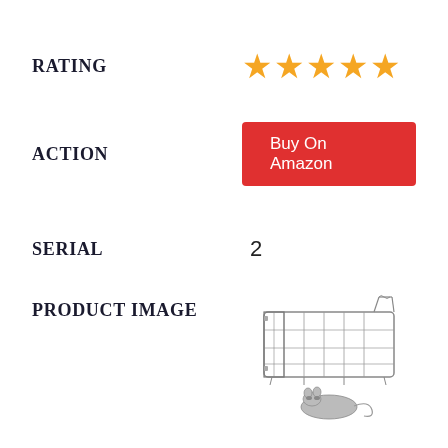RATING
[Figure (other): Five orange star rating icons]
ACTION
[Figure (other): Red button labeled Buy On Amazon]
SERIAL
2
PRODUCT IMAGE
[Figure (photo): Wire cage animal trap with a raccoon at the bottom]